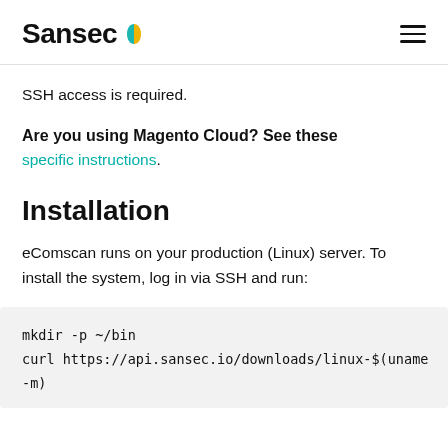Sansec
SSH access is required.
Are you using Magento Cloud? See these specific instructions.
Installation
eComscan runs on your production (Linux) server. To install the system, log in via SSH and run: